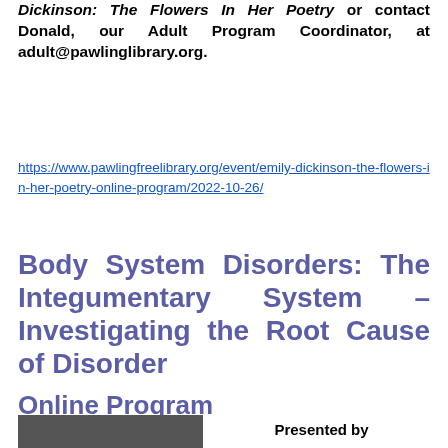Dickinson: The Flowers In Her Poetry or contact Donald, our Adult Program Coordinator, at adult@pawlinglibrary.org.
https://www.pawlingfreelibrary.org/event/emily-dickinson-the-flowers-in-her-poetry-online-program/2022-10-26/
Body System Disorders: The Integumentary System – Investigating the Root Cause of Disorder
Online Program
Presented by